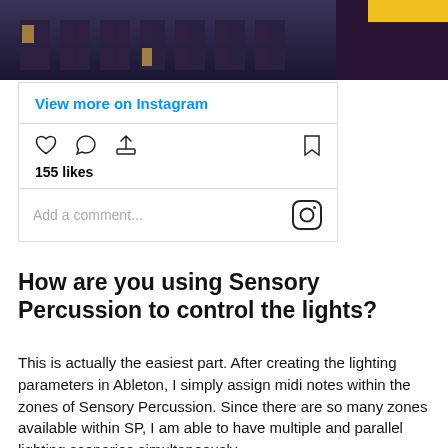[Figure (screenshot): Instagram post screenshot showing a building at night with likes and comment section]
View more on Instagram
155 likes
Add a comment...
How are you using Sensory Percussion to control the lights?
This is actually the easiest part. After creating the lighting parameters in Ableton, I simply assign midi notes within the zones of Sensory Percussion. Since there are so many zones available within SP, I am able to have multiple and parallel lighting scenarios simultaneously.